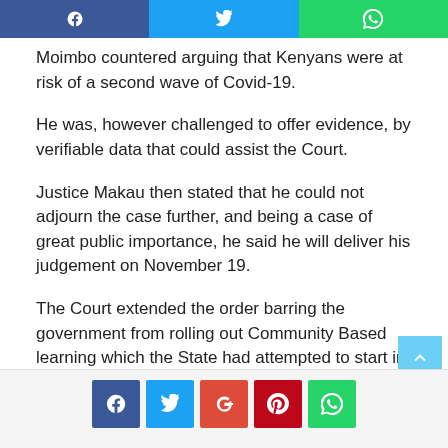[Figure (other): Top social sharing bar with Facebook, Twitter, and WhatsApp icons]
Moimbo countered arguing that Kenyans were at risk of a second wave of Covid-19.
He was, however challenged to offer evidence, by verifiable data that could assist the Court.
Justice Makau then stated that he could not adjourn the case further, and being a case of great public importance, he said he will deliver his judgement on November 19.
The Court extended the order barring the government from rolling out Community Based learning which the State had attempted to start in September 2020.
[Figure (other): Bottom social sharing bar with Facebook, Twitter, Google+, Pinterest, and WhatsApp icons]